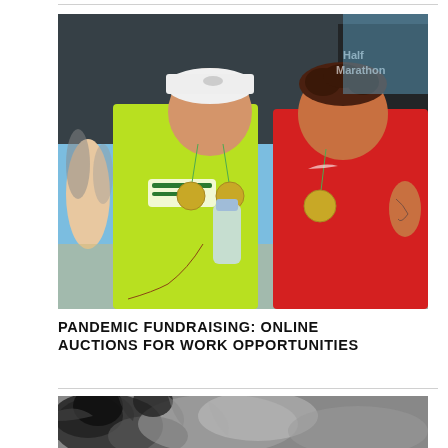[Figure (photo): Two men wearing race medals standing in front of a race banner. The man on the left wears a bright yellow-green shirt and a white Nike cap and holds a water bottle and a dog leash. The man on the right wears a red Nike tank top. Both are smiling at the camera in an outdoor race finish area.]
PANDEMIC FUNDRAISING: ONLINE AUCTIONS FOR WORK OPPORTUNITIES
[Figure (photo): Partial view of an animal (appears to be a dog or wolf) with gray and black fur, cropped at the bottom of the page.]